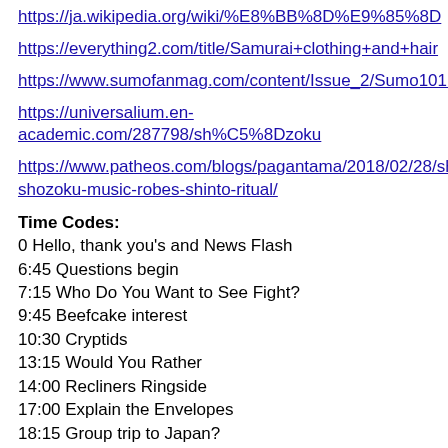https://ja.wikipedia.org/wiki/%E8%BB%8D%E9%85%8D
https://everything2.com/title/Samurai+clothing+and+hair
https://www.sumofanmag.com/content/Issue_2/Sumo1011.htm
https://universalium.en-academic.com/287798/sh%C5%8Dzoku
https://www.patheos.com/blogs/pagantama/2018/02/28/sho-shozoku-music-robes-shinto-ritual/
Time Codes:
0 Hello, thank you's and News Flash
6:45 Questions begin
7:15 Who Do You Want to See Fight?
9:45 Beefcake interest
10:30 Cryptids
13:15 Would You Rather
14:00 Recliners Ringside
17:00 Explain the Envelopes
18:15 Group trip to Japan?
20:00 Bruce explains difference between kimarite
28:00 What do you do for a living?
32:15 Gyoji questions
45:00 Birds
50:00 Who is your favorite commentator?